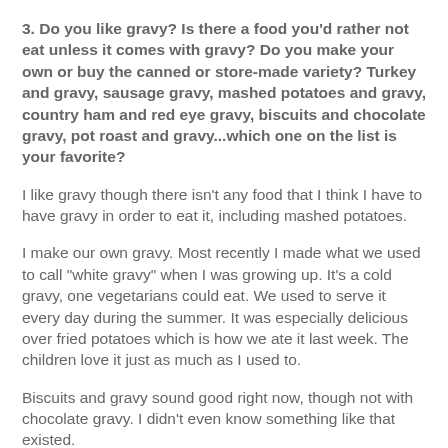3. Do you like gravy? Is there a food you'd rather not eat unless it comes with gravy? Do you make your own or buy the canned or store-made variety? Turkey and gravy, sausage gravy, mashed potatoes and gravy, country ham and red eye gravy, biscuits and chocolate gravy, pot roast and gravy...which one on the list is your favorite?
I like gravy though there isn't any food that I think I have to have gravy in order to eat it, including mashed potatoes.
I make our own gravy. Most recently I made what we used to call "white gravy" when I was growing up. It's a cold gravy, one vegetarians could eat. We used to serve it every day during the summer. It was especially delicious over fried potatoes which is how we ate it last week. The children love it just as much as I used to.
Biscuits and gravy sound good right now, though not with chocolate gravy. I didn't even know something like that existed.